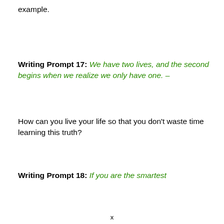example.
Writing Prompt 17: We have two lives, and the second begins when we realize we only have one. –
How can you live your life so that you don't waste time learning this truth?
Writing Prompt 18: If you are the smartest
x